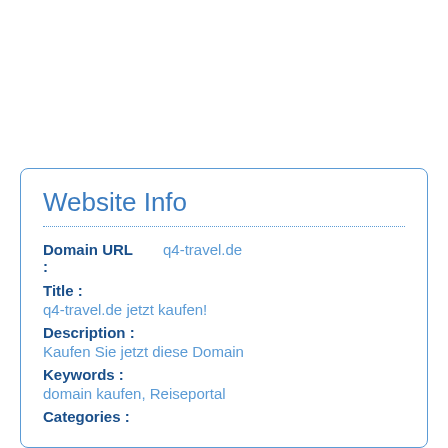Website Info
Domain URL : q4-travel.de
Title :
q4-travel.de jetzt kaufen!
Description :
Kaufen Sie jetzt diese Domain
Keywords :
domain kaufen, Reiseportal
Categories :